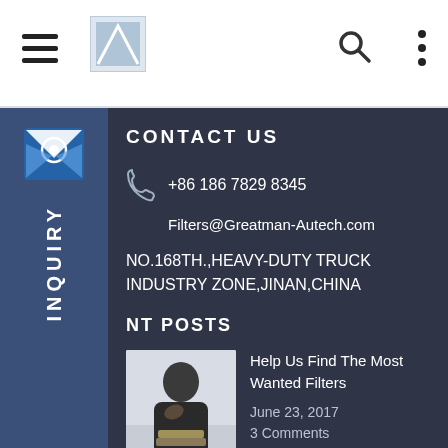Navigation header with hamburger menu, logo, search icon, and more options
CONTACT US
+86 186 7829 8345
Filters@Greatman-Autech.com
NO.168TH.,HEAVY-DUTY TRUCK INDUSTRY ZONE,JINAN,CHINA
RECENT POSTS
[Figure (photo): Thumbnail photo of a man in a black jacket sitting and thinking]
Help Us Find The Most Wanted Filters
June 23, 2017
3 Comments